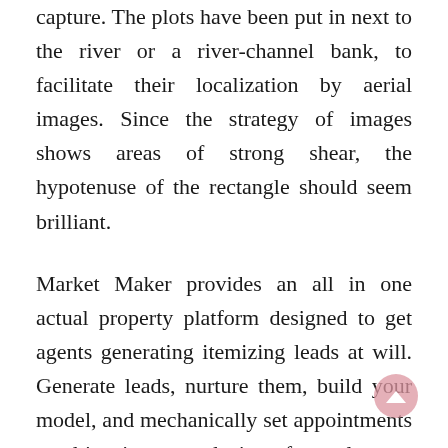capture. The plots have been put in next to the river or a river-channel bank, to facilitate their localization by aerial images. Since the strategy of images shows areas of strong shear, the hypotenuse of the rectangle should seem brilliant.
Market Maker provides an all in one actual property platform designed to get agents generating itemizing leads at will. Generate leads, nurture them, build your model, and mechanically set appointments resulting in more closings for real estate agents. Very good and temporary article with all wanted info for beginners.